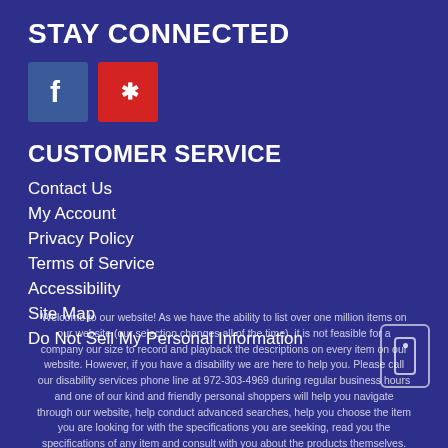STAY CONNECTED
[Figure (logo): Facebook and Yelp social media icon buttons]
CUSTOMER SERVICE
Contact Us
My Account
Privacy Policy
Terms of Service
Accessibility
Site Map
Do Not Sell My Personal Information
Welcome to our website! As we have the ability to list over one million items on our website (our selection changes all of the time), it is not feasible for a company our size to record and playback the descriptions on every item on our website. However, if you have a disability we are here to help you. Please call our disability services phone line at 972-303-4969 during regular business hours and one of our kind and friendly personal shoppers will help you navigate through our website, help conduct advanced searches, help you choose the item you are looking for with the specifications you are seeking, read you the specifications of any item and consult with you about the products themselves. There is no charge for the help of